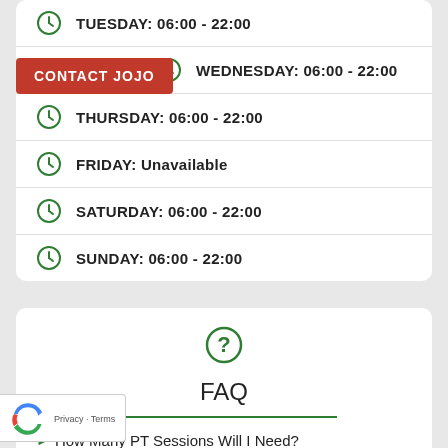TUESDAY: 06:00 - 22:00
WEDNESDAY: 06:00 - 22:00
THURSDAY: 06:00 - 22:00
FRIDAY: Unavailable
SATURDAY: 06:00 - 22:00
SUNDAY: 06:00 - 22:00
CONTACT JOJO
FAQ
How Many PT Sessions Will I Need?
Is Nutrition Advice Included?